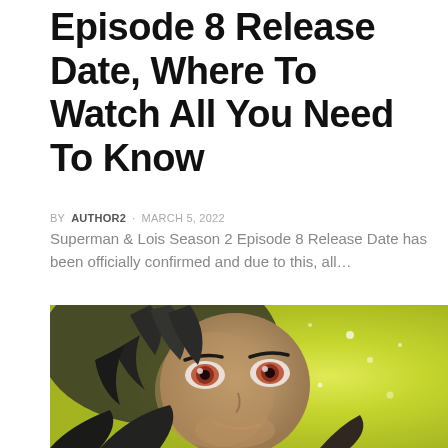Episode 8 Release Date, Where To Watch All You Need To Know
BY AUTHOR2 · MARCH 5, 2022
Superman & Lois Season 2 Episode 8 Release Date has been officially confirmed and due to this, all…
[Figure (illustration): Close-up illustration of an anime character with dark spiky hair and orange/red eyes, smiling slightly, with a yellow-green glowing background]